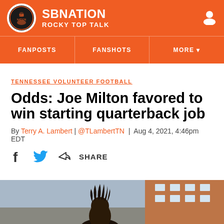SB NATION | ROCKY TOP TALK
FANPOSTS | FANSHOTS | MORE
TENNESSEE VOLUNTEER FOOTBALL
Odds: Joe Milton favored to win starting quarterback job
By Terry A. Lambert | @TLambertTN | Aug 4, 2021, 4:46pm EDT
SHARE
[Figure (photo): Photo of Joe Milton, Tennessee quarterback, outdoor photo near a brick building]